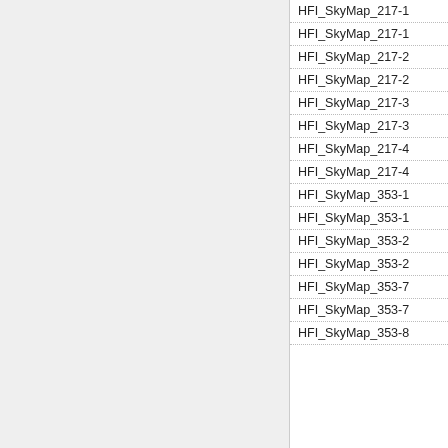| Component | Name |
| --- | --- |
|  | HFI_SkyMap_217-1... |
|  | HFI_SkyMap_217-1... |
|  | HFI_SkyMap_217-2... |
|  | HFI_SkyMap_217-2... |
|  | HFI_SkyMap_217-3... |
|  | HFI_SkyMap_217-3... |
|  | HFI_SkyMap_217-4... |
|  | HFI_SkyMap_217-4... |
| HFI | HFI_SkyMap_353-1... |
|  | HFI_SkyMap_353-1... |
|  | HFI_SkyMap_353-2... |
|  | HFI_SkyMap_353-2... |
|  | HFI_SkyMap_353-7... |
|  | HFI_SkyMap_353-7... |
|  | HFI_SkyMap_353-8... |